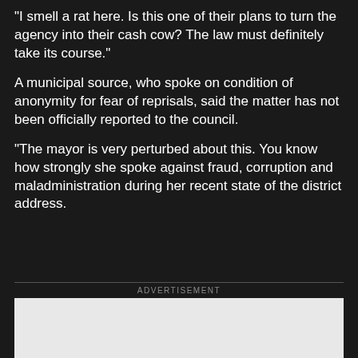“I smell a rat here. Is this one of their plans to turn the agency into their cash cow? The law must definitely take its course.”
A municipal source, who spoke on condition of anonymity for fear of reprisals, said the matter has not been officially reported to the council.
“The mayor is very perturbed about this. You know how strongly she spoke against fraud, corruption and maladministration during her recent state of the district address.
ADVERTISEMENT